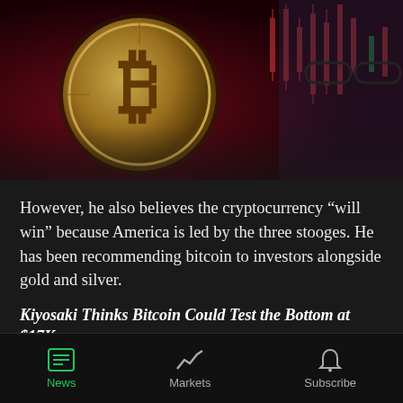[Figure (photo): Promotional image showing a golden Bitcoin coin with circuit board texture on the left and a man wearing glasses (Robert Kiyosaki) on the right, against a dark red background with candlestick chart patterns]
However, he also believes the cryptocurrency “will win” because America is led by the three stooges. He has been recommending bitcoin to investors alongside gold and silver.
Kiyosaki Thinks Bitcoin Could Test the Bottom at $17K
News   Markets   Subscribe